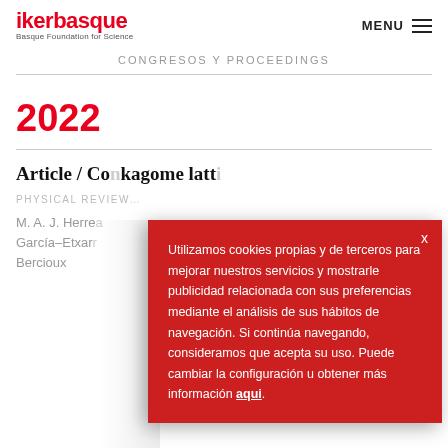ikerbasque – Basque Foundation for Science | MENU
CONGRESOS Y PROCEEDINGS
2022
Article / Co... kagome latt...
PHYSICAL REVIEW...
M. A. J. Herre... García-Etxar... Bercioux
Utilizamos cookies propias y de terceros para mejorar nuestros servicios y mostrarle publicidad relacionada con sus preferencias mediante el análisis de sus hábitos de navegación. Si continúa navegando, consideramos que acepta su uso. Puede cambiar la configuración u obtener más información aqui.